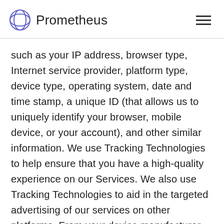Prometheus
such as your IP address, browser type, Internet service provider, platform type, device type, operating system, date and time stamp, a unique ID (that allows us to uniquely identify your browser, mobile device, or your account), and other similar information. We use Tracking Technologies to help ensure that you have a high-quality experience on our Services. We also use Tracking Technologies to aid in the targeted advertising of our services on other platforms. From your device manufacturer, we also may collect the names of other third-party applications that you have downloaded on your